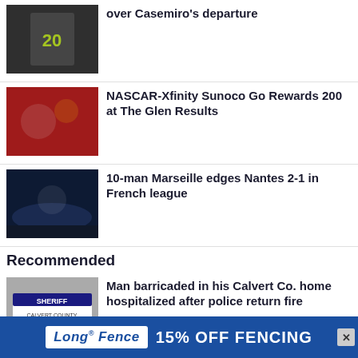[Figure (photo): Soccer players on field, player with number 20]
over Casemiro's departure
[Figure (photo): Crowd of fans celebrating, wearing red costumes and confetti]
NASCAR-Xfinity Sunoco Go Rewards 200 at The Glen Results
[Figure (photo): Soccer players celebrating on dark stadium field]
10-man Marseille edges Nantes 2-1 in French league
Recommended
[Figure (photo): Sheriff Calvert County police car]
Man barricaded in his Calvert Co. home hospitalized after police return fire
[Figure (photo): Bottom news item thumbnail]
[Figure (advertisement): Long Fence advertisement banner: 15% OFF FENCING]